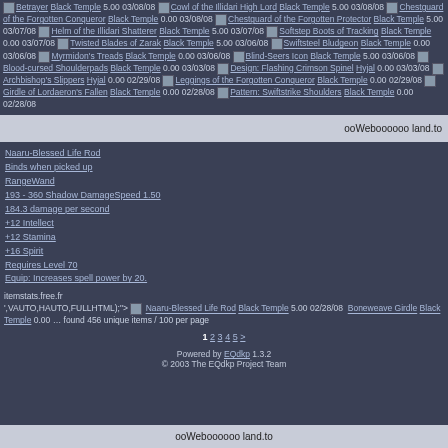Betrayer Black Temple 5.00 03/08/08
Cowl of the Illidari High Lord Black Temple 5.00 03/08/08
Chestguard of the Forgotten Conqueror Black Temple 0.00 03/08/08
Chestguard of the Forgotten Protector Black Temple 5.00 03/07/08
Helm of the Illidari Shatterer Black Temple 5.00 03/07/08
Softstep Boots of Tracking Black Temple 0.00 03/07/08
Twisted Blades of Zarak Black Temple 5.00 03/06/08
Swiftsteel Bludgeon Black Temple 0.00 03/06/08
Myrmidon's Treads Black Temple 0.00 03/06/08
Blind-Seers Icon Black Temple 5.00 03/06/08
Blood-cursed Shoulderpads Black Temple 0.00 03/03/08
Design: Flashing Crimson Spinel Hyjal 0.00 03/03/08
Archbishop's Slippers Hyjal 0.00 02/29/08
Leggings of the Forgotten Conqueror Black Temple 0.00 02/29/08
Girdle of Lordaeron's Fallen Black Temple 0.00 02/28/08
Pattern: Swiftstrike Shoulders Black Temple 0.00 02/28/08
ooWeboooooo land.to
Naaru-Blessed Life Rod
Binds when picked up
RangeWand
193 - 360 Shadow DamageSpeed 1.50
184.3 damage per second
+12 Intellect
+12 Stamina
+16 Spirit
Requires Level 70
Equip: Increases spell power by 20.
itemstats.free.fr
',VAUTO,HAUTO,FULLHTML);" onmouseout="return nd();">
Naaru-Blessed Life Rod Black Temple 5.00 02/28/08
Boneweave Girdle Black Temple 0.00 ... found 456 unique items / 100 per page
1 2 3 4 5 >
Powered by EQdkp 1.3.2
© 2003 The EQdkp Project Team
ooWeboooooo land.to